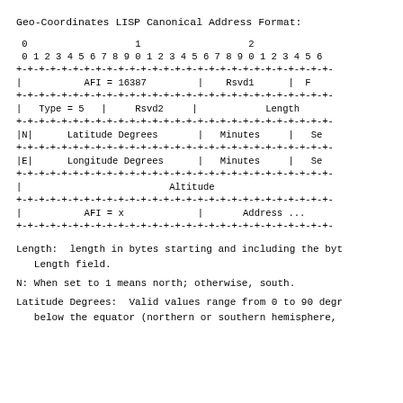Geo-Coordinates LISP Canonical Address Format:
[Figure (schematic): Bit-field diagram showing the Geo-Coordinates LISP Canonical Address Format with rows: AFI=16387/Rsvd1/F, Type=5/Rsvd2/Length, N/Latitude Degrees/Minutes/Se, E/Longitude Degrees/Minutes/Se, Altitude, AFI=x/Address...]
Length:  length in bytes starting and including the byt
   Length field.
N: When set to 1 means north; otherwise, south.
Latitude Degrees:  Valid values range from 0 to 90 degr
   below the equator (northern or southern hemisphere,